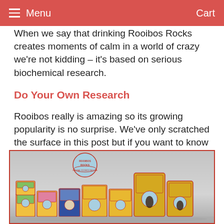Menu  Cart
When we say that drinking Rooibos Rocks creates moments of calm in a world of crazy we're not kidding – it's based on serious biochemical research.
Do Your Own Research
Rooibos really is amazing so its growing popularity is no surprise. We've only scratched the surface in this post but if you want to know more check out our other articles.
[Figure (photo): Array of Rooibos Rocks tea product packaging — boxes and pouches of various sizes arranged in a row against a grey background, with the Rooibos Rocks logo displayed above them.]